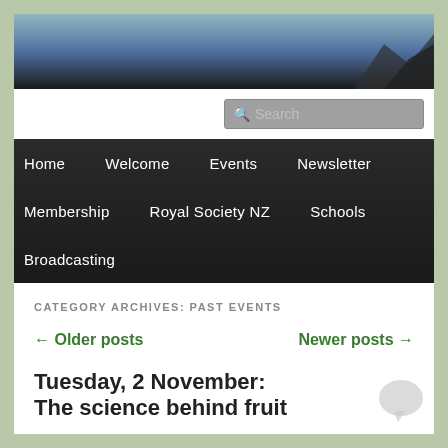[Figure (photo): Website header banner image with gradient from teal/blue to dark, with mountainous silhouette on right side]
[Figure (screenshot): Search bar input field with search icon and placeholder text 'Search']
Home   Welcome   Events   Newsletter   Membership   Royal Society NZ   Schools   Broadcasting
CATEGORY ARCHIVES: PAST EVENTS
← Older posts    Newer posts →
Tuesday, 2 November: The science behind fruit